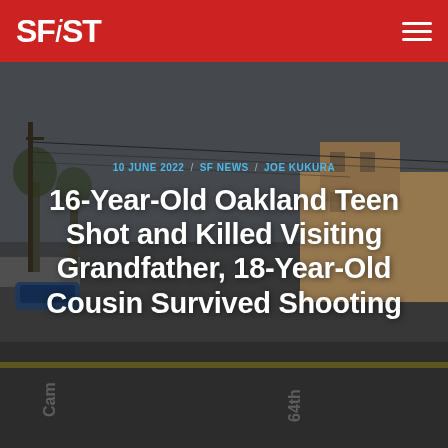SFiST
[Figure (photo): Google Street View image of an Oakland intersection showing a street corner with power lines, parked cars, residential buildings, and road markings. Dark/overcast sky. Intersection labels visible on pavement: Cam and 64th.]
10 JUNE 2022 / SF NEWS / JOE KUKURA
16-Year-Old Oakland Teen Shot and Killed Visiting Grandfather, 18-Year-Old Cousin Survived Shooting